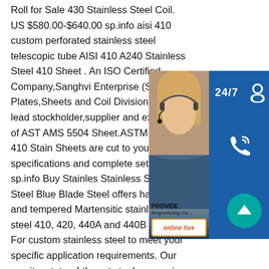Roll for Sale 430 Stainless Steel Coil. US $580.00-$640.00 sp.info aisi 410 custom perforated stainless steel telescopic tube AISI 410 A240 Stainless Steel 410 Sheet . An ISO Certified Company,Sanghvi Enterprise (St Plates,Sheets and Coil Division) is a lead stockholder,supplier and exporter of AST AMS 5504 Sheet.ASTM A240 410 Stain Sheets are cut to your specifications and complete set of mill sp.info Buy Stainles Stainless Steel:440 Steel Blue Blade Steel offers hardened and tempered Martensitic stainless steel 410, 420, 440A and 440B grades. For custom stainless steel to meet your specific application requirements. Our on-site, state-of-the-art steel processing capabilities also
[Figure (other): Customer service widget with a photo of a woman wearing a headset, overlaid with a 24/7 contact bar, phone icon button, Skype icon button, a PROVIDE Empowering Customers label, and an online live button. Also includes a teal circular scroll-to-top arrow button.]